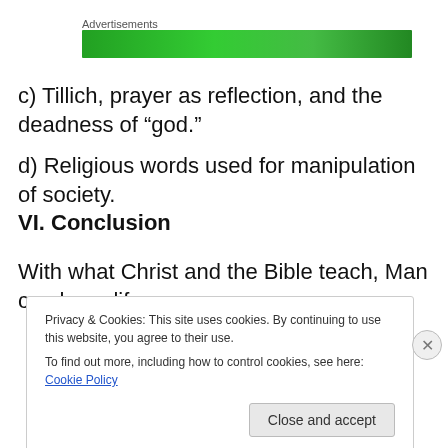[Figure (other): Advertisement banner with green background]
c) Tillich, prayer as reflection, and the deadness of “god.”
d) Religious words used for manipulation of society.
VI. Conclusion
With what Christ and the Bible teach, Man can have life
Privacy & Cookies: This site uses cookies. By continuing to use this website, you agree to their use.
To find out more, including how to control cookies, see here: Cookie Policy